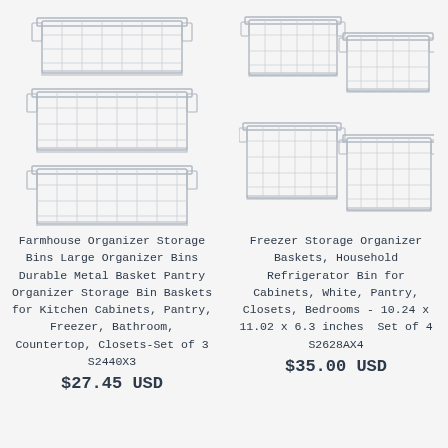[Figure (photo): Three white wire storage baskets stacked vertically, showing different sizes, on light background]
[Figure (photo): Four white wire freezer/refrigerator storage baskets arranged in a 2x2 grid pattern on light background]
Farmhouse Organizer Storage Bins Large Organizer Bins Durable Metal Basket Pantry Organizer Storage Bin Baskets for Kitchen Cabinets, Pantry, Freezer, Bathroom, Countertop, Closets-Set of 3 S2440X3
$27.45 USD
Freezer Storage Organizer Baskets, Household Refrigerator Bin for Cabinets, White, Pantry, Closets, Bedrooms - 10.24 x 11.02 x 6.3 inches  Set of 4 S2628AX4
$35.00 USD